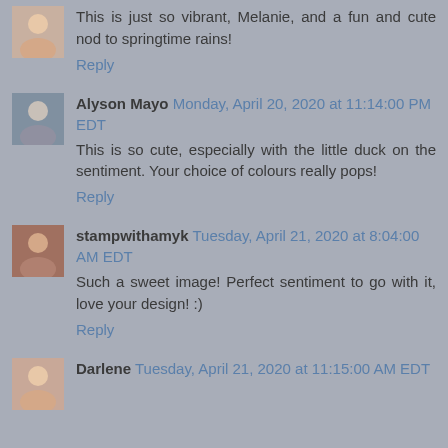This is just so vibrant, Melanie, and a fun and cute nod to springtime rains!
Reply
Alyson Mayo  Monday, April 20, 2020 at 11:14:00 PM EDT
This is so cute, especially with the little duck on the sentiment. Your choice of colours really pops!
Reply
stampwithamyk  Tuesday, April 21, 2020 at 8:04:00 AM EDT
Such a sweet image! Perfect sentiment to go with it, love your design! :)
Reply
Darlene  Tuesday, April 21, 2020 at 11:15:00 AM EDT